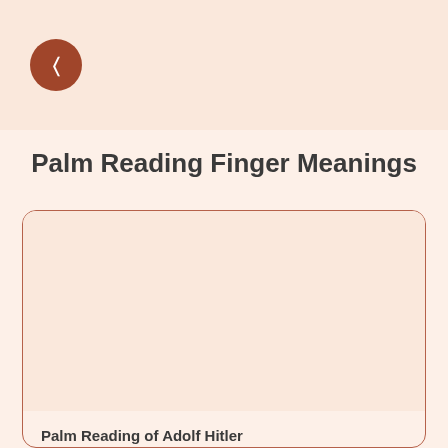[Figure (other): Navigation back button: brown circle with white left-arrow icon on a light peach header bar]
Palm Reading Finger Meanings
[Figure (other): Card with light peach background and brownish border containing an image placeholder area and article preview text]
Palm Reading of Adolf Hitler
Adolf Hitler – the Fuhrer of Nazi Germany & the Dictator. The history of World...